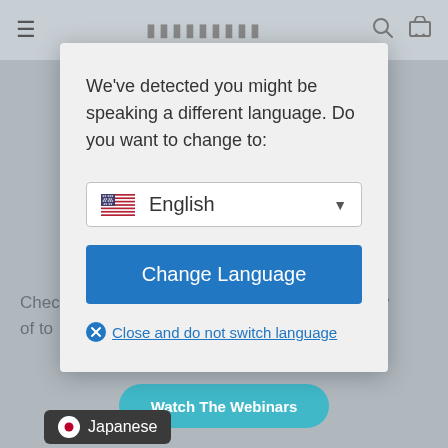[Figure (screenshot): Website navigation bar with hamburger menu, logo placeholder, search icon, and cart icon on a grey background]
We've detected you might be speaking a different language. Do you want to change to:
[Figure (screenshot): Dropdown selector showing US flag and 'English' with a dropdown arrow]
[Figure (screenshot): Blue 'Change Language' button]
Close and do not switch language
Chec ... ariety of to ... and
[Figure (screenshot): Teal 'Watch The Webinars' rounded button]
[Figure (screenshot): Dark pill showing Japanese flag emoji and 'Japanese' text]